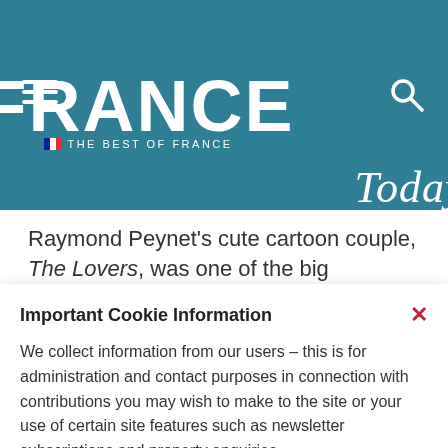[Figure (logo): France Today magazine logo with hamburger menu and search icon on teal/blue-green background]
Raymond Peynet's cute cartoon couple, The Lovers, was one of the big advertising hits of the
Important Cookie Information
We collect information from our users – this is for administration and contact purposes in connection with contributions you may wish to make to the site or your use of certain site features such as newsletter subscriptions and property enquiries.
View cookie policy
Accept